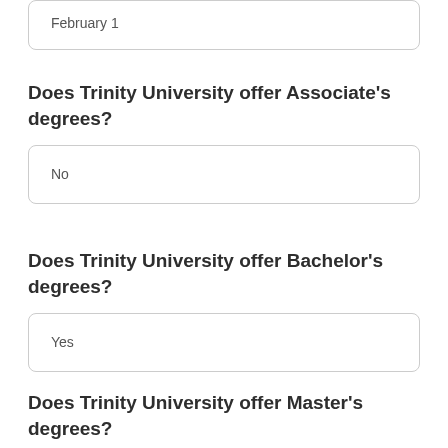February 1
Does Trinity University offer Associate's degrees?
No
Does Trinity University offer Bachelor's degrees?
Yes
Does Trinity University offer Master's degrees?